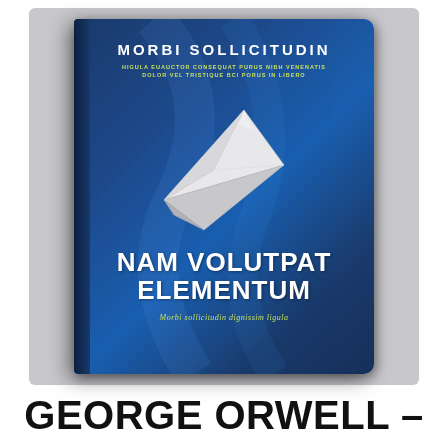[Figure (illustration): Book cover image with dark blue background featuring a paper airplane graphic. Title reads 'NAM VOLUTPAT ELEMENTUM'. Author name at top 'MORBI SOLLICITUDIN'. Subtitle 'HIGULA EUAUCTOR CONSEQUAT PURUS NIBH VENENATIS DOLOR VEL TRISTIQUE BCI PORUS IN LIBERO'. Tagline 'Morbi sollicitudin dignissim ligula'.]
GEORGE ORWELL –